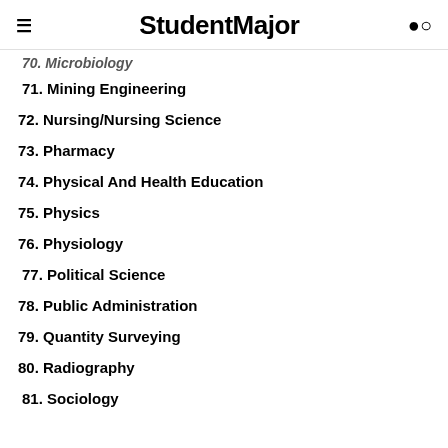StudentMajor
71. Mining Engineering
72. Nursing/Nursing Science
73. Pharmacy
74. Physical And Health Education
75. Physics
76. Physiology
77. Political Science
78. Public Administration
79. Quantity Surveying
80. Radiography
81. Sociology